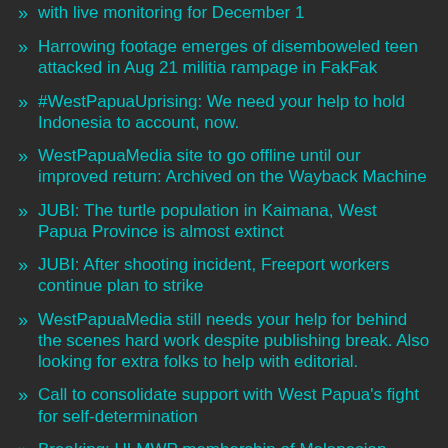with live monitoring for December 1
Harrowing footage emerges of disemboweled teen attacked in Aug 21 militia rampage in FakFak
#WestPapuaUprising: We need your help to hold Indonesia to account, now.
WestPapuaMedia site to go offline until our improved return: Archived on the Wayback Machine
JUBI: The turtle population in Kaimana, West Papua Province is almost extinct
JUBI: After shooting incident, Freeport workers continue plan to strike
WestPapuaMedia still needs your help for behind the scenes hard work despite publishing break. Also looking for extra folks to help with editorial.
Call to consolidate support with West Papua's fight for self-determination
Breaking: ULMWP membership of Melanesian Spearhead Group decision deferred until September in Vanuatu